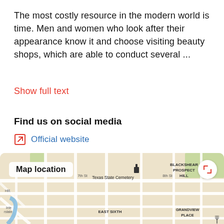The most costly resource in the modern world is time. Men and women who look after their appearance know it and choose visiting beauty shops, which are able to conduct several ...
Show full text
Find us on social media
Official website
Are you the owner?
Get access
Report an error
[Figure (map): Street map showing Texas State Cemetery area, with labels for Blackshear Prospect Hill, East Sixth, Grandview Place, and surrounding streets.]